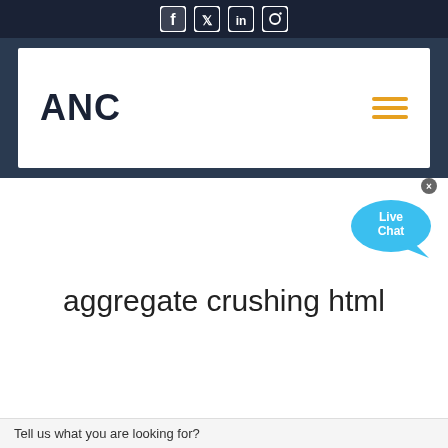ANC [social media icons: Facebook, Twitter, LinkedIn, Instagram] [hamburger menu]
[Figure (illustration): Live Chat speech bubble widget with blue chat bubble, 'Live Chat' text, and close X button in upper right]
aggregate crushing html
Tell us what you are looking for?